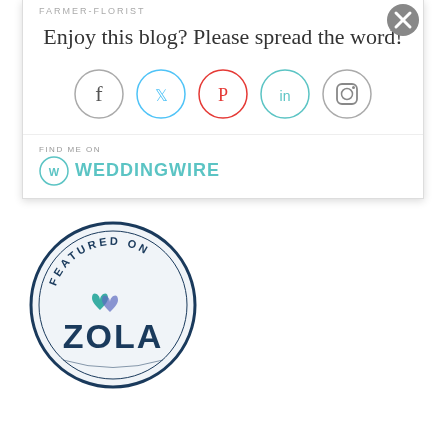[Figure (screenshot): Popup box with farmer-florist label, 'Enjoy this blog? Please spread the word!' text, social media share icons (Facebook, Twitter, Pinterest, LinkedIn, Instagram), a close button (X), and a WeddingWire badge]
[Figure (logo): Featured on Zola badge — circular badge with navy border, 'FEATURED ON' text at top, two heart icons in teal/blue, and 'ZOLA' text in large bold navy letters]